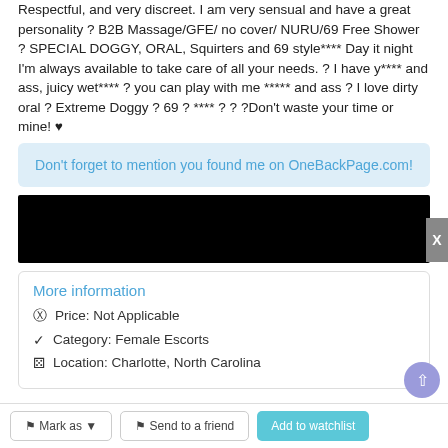Respectful, and very discreet. I am very sensual and have a great personality ? B2B Massage/GFE/ no cover/ NURU/69 Free Shower ? SPECIAL DOGGY, ORAL, Squirters and 69 style**** Day it night I'm always available to take care of all your needs. ? I have y**** and ass, juicy wet**** ? you can play with me ***** and ass ? I love dirty oral ? Extreme Doggy ? 69 ? **** ? ? ?Don't waste your time or mine! ♥
Don't forget to mention you found me on OneBackPage.com!
[Figure (photo): Black redacted image block]
More information
Price: Not Applicable
Category: Female Escorts
Location: Charlotte, North Carolina